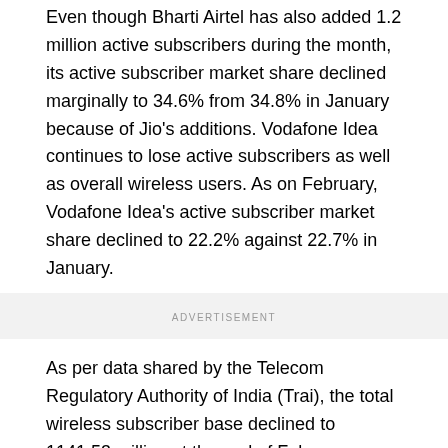Even though Bharti Airtel has also added 1.2 million active subscribers during the month, its active subscriber market share declined marginally to 34.6% from 34.8% in January because of Jio's additions. Vodafone Idea continues to lose active subscribers as well as overall wireless users. As on February, Vodafone Idea's active subscriber market share declined to 22.2% against 22.7% in January.
ADVERTISEMENT
As per data shared by the Telecom Regulatory Authority of India (Trai), the total wireless subscriber base declined to 1141.53 million at the end of February against 1145.24 million at the end of January. The decline in gross wireless subscriber